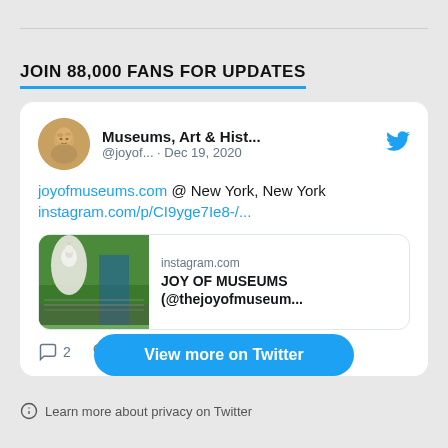JOIN 88,000 FANS FOR UPDATES
[Figure (screenshot): A Twitter/social media embed card showing a tweet from 'Museums, Art & Hist...' (@joyof...) dated Dec 19, 2020. Tweet text: 'joyofmuseums.com @ New York, New York instagram.com/p/CI9yge7Ie8-/...' with an Instagram preview card showing a white peacock image and text 'JOY OF MUSEUMS (@thejoyofmuseum...' from instagram.com. Tweet has 2 comments and 129 likes.]
View more on Twitter
Learn more about privacy on Twitter